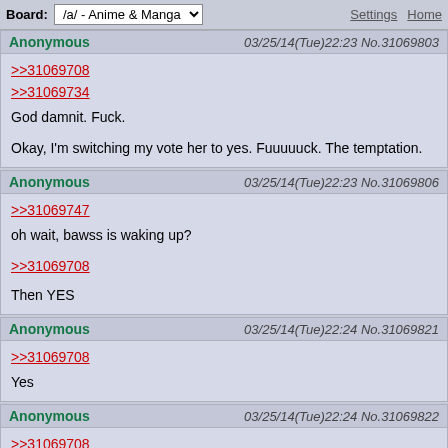Board: /a/ - Anime & Manga | Settings Home
Anonymous 03/25/14(Tue)22:23 No.31069803
>>31069708
>>31069734
God damnit. Fuck.

Okay, I'm switching my vote her to yes. Fuuuuuck. The temptation.
Anonymous 03/25/14(Tue)22:23 No.31069806
>>31069747
oh wait, bawss is waking up?

>>31069708

Then YES
Anonymous 03/25/14(Tue)22:24 No.31069821
>>31069708
Yes
Anonymous 03/25/14(Tue)22:24 No.31069822
>>31069708
[A] [YES]